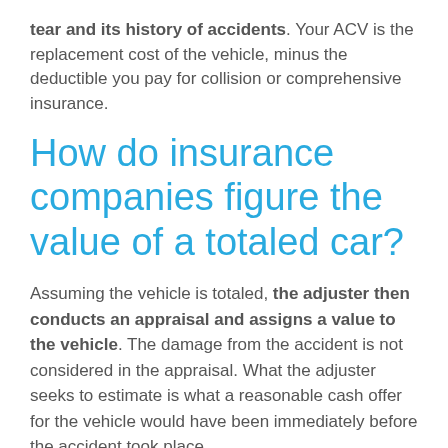tear and its history of accidents. Your ACV is the replacement cost of the vehicle, minus the deductible you pay for collision or comprehensive insurance.
How do insurance companies figure the value of a totaled car?
Assuming the vehicle is totaled, the adjuster then conducts an appraisal and assigns a value to the vehicle. The damage from the accident is not considered in the appraisal. What the adjuster seeks to estimate is what a reasonable cash offer for the vehicle would have been immediately before the accident took place.